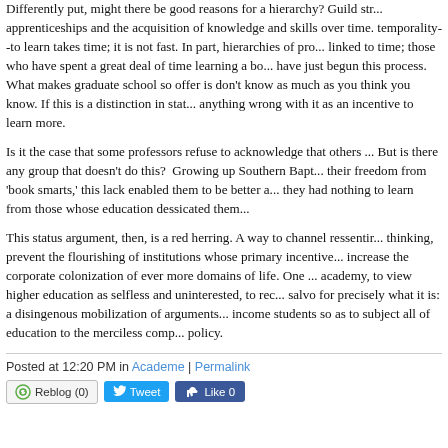Differently put, might there be good reasons for a hierarchy? Guild str... apprenticeships and the acquisition of knowledge and skills over time. temporality--to learn takes time; it is not fast. In part, hierarchies of pro... linked to time; those who have spent a great deal of time learning a bo... have just begun this process. What makes graduate school so offer is don't know as much as you think you know. If this is a distinction in stat... anything wrong with it as an incentive to learn more.
Is it the case that some professors refuse to acknowledge that others ... But is there any group that doesn't do this? Growing up Southern Bapt... their freedom from 'book smarts,' this lack enabled them to be better a... they had nothing to learn from those whose education dessicated them...
This status argument, then, is a red herring. A way to channel ressentir... thinking, prevent the flourishing of institutions whose primary incentive... increase the corporate colonization of ever more domains of life. One ... academy, to view higher education as selfless and uninterested, to rec... salvo for precisely what it is: a disingenous mobilization of arguments... income students so as to subject all of education to the merciless comp... policy.
Posted at 12:20 PM in Academe | Permalink
Reblog (0)  Tweet  Like 0